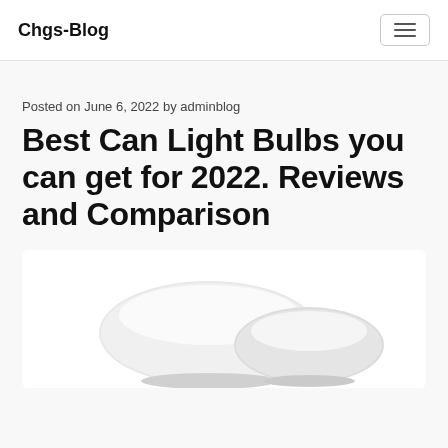Chgs-Blog
Posted on June 6, 2022 by adminblog
Best Can Light Bulbs you can get for 2022. Reviews and Comparison
[Figure (photo): Photo of white can light bulbs, shown from above, partially visible at the bottom of the page]